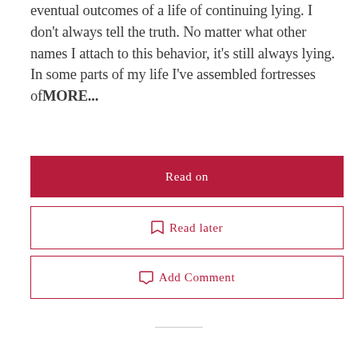eventual outcomes of a life of continuing lying. I don't always tell the truth. No matter what other names I attach to this behavior, it's still always lying. In some parts of my life I've assembled fortresses ofMORE...
Read on
Read later
Add Comment